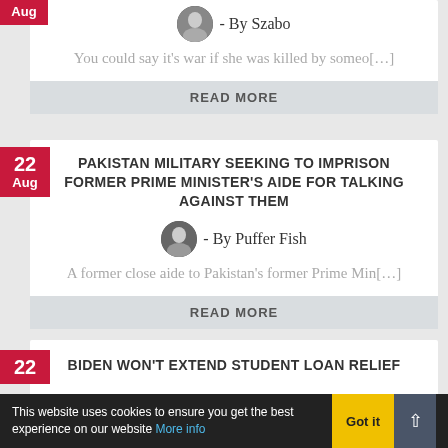Aug
- By Szabo
You could say it's war if she was killed by someo[…]
READ MORE
22
Aug
PAKISTAN MILITARY SEEKING TO IMPRISON FORMER PRIME MINISTER'S AIDE FOR TALKING AGAINST THEM
- By Puffer Fish
A former close aide to Pakistan's former Prime Min[…]
READ MORE
22
BIDEN WON'T EXTEND STUDENT LOAN RELIEF
This website uses cookies to ensure you get the best experience on our website More info
Got it